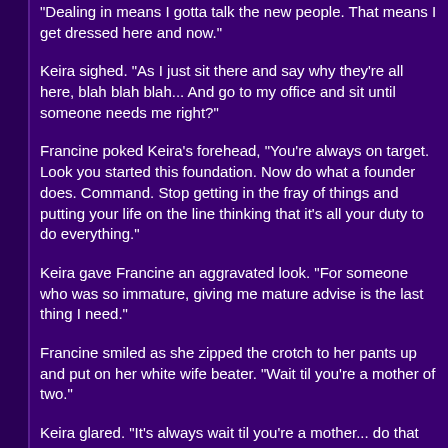"Dealing in means I gotta talk the new people. That means I get dressed here and now."
Keira sighed. "As I just sit there and say why they're all here, blah blah blah... And go to my office and sit until someone needs me right?"
Francine poked Keira's forehead, "You're always on target. Look you started this foundation. Now do what a founder does. Command. Stop getting in the fray of things and putting your life on the line thinking that it's all your duty to do everything."
Keira gave Francine an aggravated look. "For someone who was so immature, giving me mature advise is the last thing I need."
Francine smiled as she zipped the crotch to her pants up and put on her white wife beater. "Wait til you're a mother of two."
Keira glared. "It's always wait til you're a mother... do that and you know what? Since you've gotten pregnant, you've gotten fatter."
Francine glared at Keira. "I'LL SHOW YOU FAT!!" She grabbed Keira and put her in a headlock then proceeded to give her a noogie.
Keira struggled around trying to get her off. "THE BUN DAMN IT THE BUN!!" She yelled. "LET GO OF